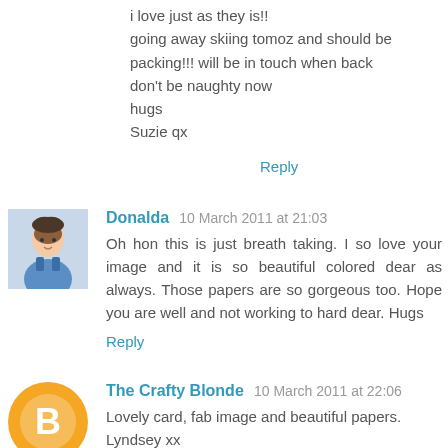i love just as they is!!
going away skiing tomoz and should be packing!!! will be in touch when back
don't be naughty now
hugs
Suzie qx
Reply
Donalda  10 March 2011 at 21:03
Oh hon this is just breath taking. I so love your image and it is so beautiful colored dear as always. Those papers are so gorgeous too. Hope you are well and not working to hard dear. Hugs
Reply
The Crafty Blonde  10 March 2011 at 22:06
Lovely card, fab image and beautiful papers.
Lyndsey xx
Reply